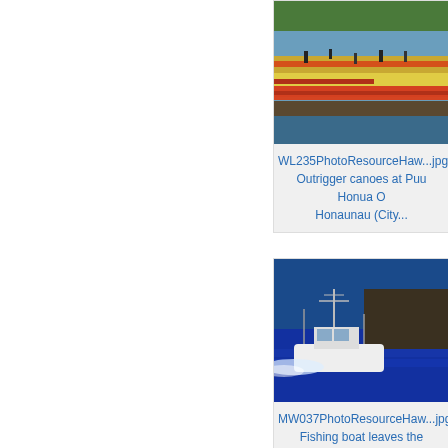[Figure (photo): Outrigger canoes lined up at shore with people, tropical trees in background at Puu Honua O Honaunau]
WL235PhotoResourceHaw...jpg
Outrigger canoes at Puu Honua O Honaunau (City...
[Figure (photo): White fishing boat speeding across deep blue ocean water near rocky shoreline]
MW037PhotoResourceHaw...jpg
Fishing boat leaves the Honokoha boat harbour...